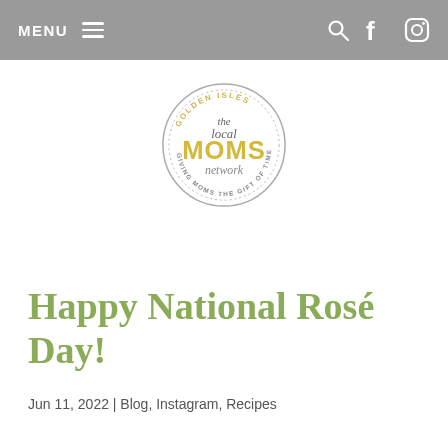MENU
[Figure (logo): Golden Isles The Local MOMS Network circular logo — gray circle border with dotted inner ring, yellow 'GOLDEN ISLES' text at top, script 'the local' text, large yellow 'MOMS' text, script 'network' text, 'GIVING MOMS THE GIFT OF TIME' around the bottom]
Happy National Rosé Day!
Jun 11, 2022 | Blog, Instagram, Recipes